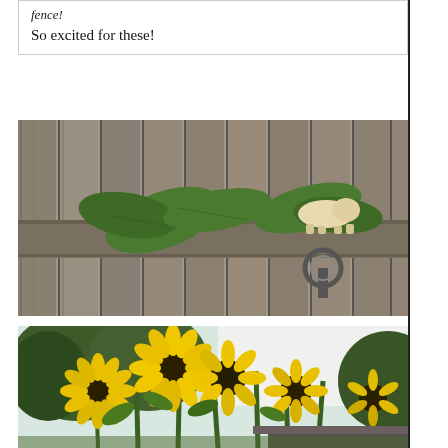fence!
So excited for these!
[Figure (photo): A wooden fence with a decorative metal ring/hook mounted on a horizontal rail, and large green leaves (sunflower plant) growing over the top of the fence. A pale yellow/white animal figurine (pig or bear) sits on the rail near the hook.]
[Figure (photo): A cluster of sunflowers in full bloom with yellow petals and dark centers, photographed from below looking up, with green trees and a partly white sky in the background. A rooftop is visible at the lower right.]